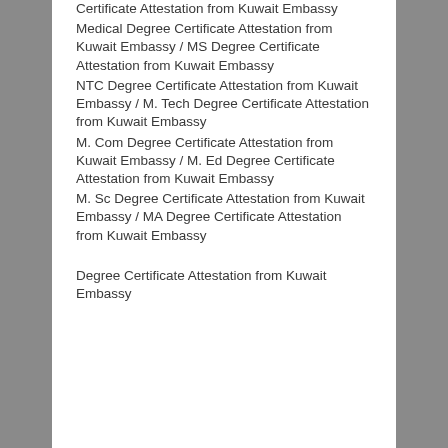Certificate Attestation from Kuwait Embassy
Medical Degree Certificate Attestation from Kuwait Embassy / MS Degree Certificate Attestation from Kuwait Embassy
NTC Degree Certificate Attestation from Kuwait Embassy / M. Tech Degree Certificate Attestation from Kuwait Embassy
M. Com Degree Certificate Attestation from Kuwait Embassy / M. Ed Degree Certificate Attestation from Kuwait Embassy
M. Sc Degree Certificate Attestation from Kuwait Embassy / MA Degree Certificate Attestation from Kuwait Embassy
Degree Certificate Attestation from Kuwait Embassy